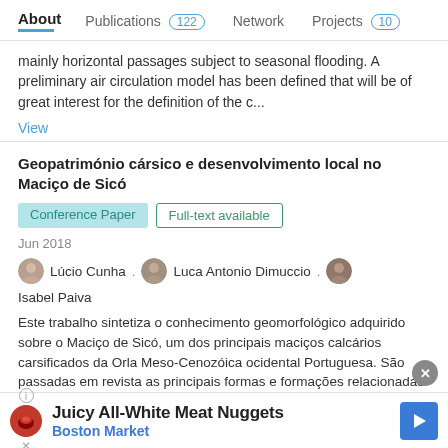About   Publications 122   Network   Projects 10
mainly horizontal passages subject to seasonal flooding. A preliminary air circulation model has been defined that will be of great interest for the definition of the c...
View
Geopatrimónio cársico e desenvolvimento local no Maciço de Sicó
Conference Paper  Full-text available
Jun 2018
Lúcio Cunha · Luca Antonio Dimuccio · Isabel Paiva
Este trabalho sintetiza o conhecimento geomorfológico adquirido sobre o Maciço de Sicó, um dos principais maciços calcários carsificados da Orla Meso-Cenozóica ocidental Portuguesa. São passadas em revista as principais formas e formações relacionadas com os processos cársicos
Juicy All-White Meat Nuggets  Boston Market